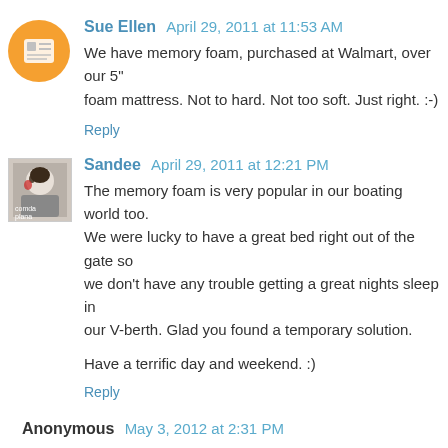Sue Ellen  April 29, 2011 at 11:53 AM
We have memory foam, purchased at Walmart, over our 5" foam mattress. Not to hard. Not too soft. Just right. :-)
Reply
Sandee  April 29, 2011 at 12:21 PM
The memory foam is very popular in our boating world too. We were lucky to have a great bed right out of the gate so we don't have any trouble getting a great nights sleep in our V-berth. Glad you found a temporary solution.
Have a terrific day and weekend. :)
Reply
Anonymous  May 3, 2012 at 2:31 PM
I used a Queen size memory foam topper. cut two pieces going on a diagonal (don't go corner to corner, it should be